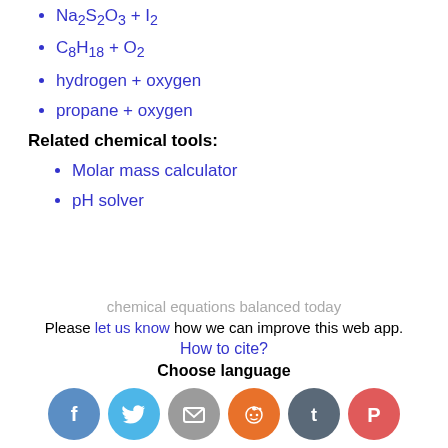Na2S2O3 + I2
C8H18 + O2
hydrogen + oxygen
propane + oxygen
Related chemical tools:
Molar mass calculator
pH solver
chemical equations balanced today
Please let us know how we can improve this web app.
How to cite?
Choose language
[Figure (illustration): Social media share buttons: Facebook, Twitter, Email, Reddit, Tumblr, Pinterest]